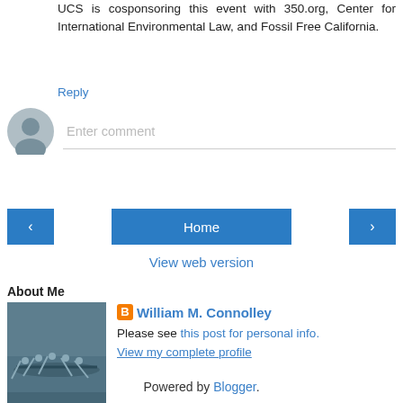UCS is cosponsoring this event with 350.org, Center for International Environmental Law, and Fossil Free California.
Reply
[Figure (screenshot): Comment input area with user avatar placeholder and 'Enter comment' text field]
[Figure (screenshot): Navigation bar with left arrow, Home button, and right arrow buttons]
View web version
About Me
[Figure (photo): Photo of rowing crew athletes in a boat on water]
William M. Connolley
Please see this post for personal info.
View my complete profile
Powered by Blogger.